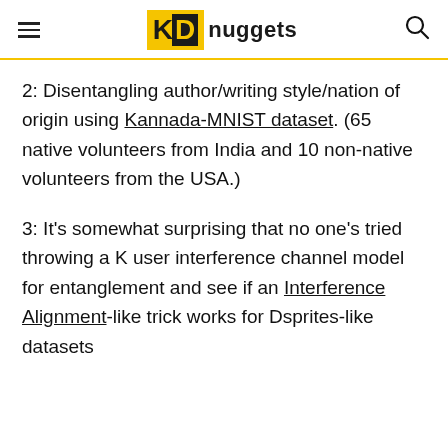KD nuggets
2: Disentangling author/writing style/nation of origin using Kannada-MNIST dataset. (65 native volunteers from India and 10 non-native volunteers from the USA.)
3: It’s somewhat surprising that no one’s tried throwing a K user interference channel model for entanglement and see if an Interference Alignment-like trick works for Dsprites-like datasets